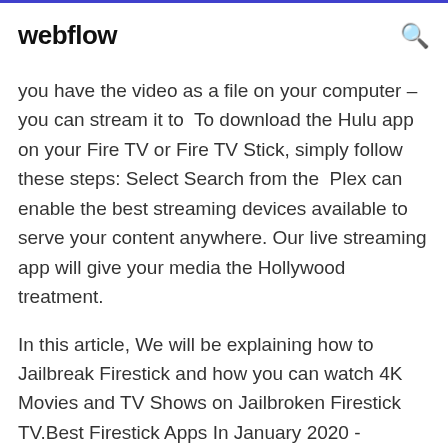webflow
you have the video as a file on your computer – you can stream it to  To download the Hulu app on your Fire TV or Fire TV Stick, simply follow these steps: Select Search from the  Plex can enable the best streaming devices available to serve your content anywhere. Our live streaming app will give your media the Hollywood treatment.
In this article, We will be explaining how to Jailbreak Firestick and how you can watch 4K Movies and TV Shows on Jailbroken Firestick TV.Best Firestick Apps In January 2020 - Movies, Shows, Games...https://troypoint.com/firestick-appsInstall the Best Firestick Apps by using this